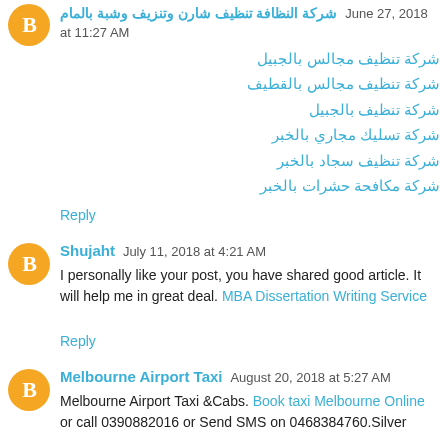شركة النظافة تنظيف شارن وتنزيف وشبة بالمام June 27, 2018 at 11:27 AM
شركة تنظيف مجالس بالجبيل
شركة تنظيف مجالس بالقطيف
شركة تنظيف بالجبيل
شركة تسليك مجاري بالخبر
شركة تنظيف سجاد بالخبر
شركة مكافحة حشرات بالخبر
Reply
Shujaht July 11, 2018 at 4:21 AM
I personally like your post, you have shared good article. It will help me in great deal. MBA Dissertation Writing Service
Reply
Melbourne Airport Taxi August 20, 2018 at 5:27 AM
Melbourne Airport Taxi &Cabs. Book taxi Melbourne Online or call 03908820016 or Send SMS on 0468384760.Silver